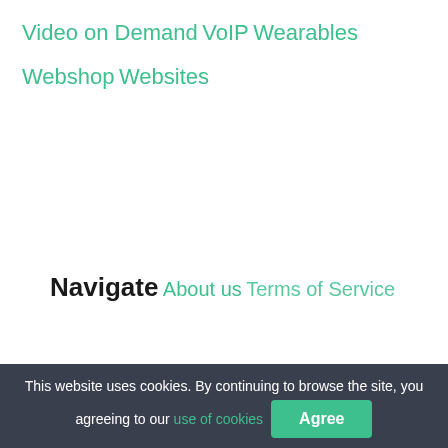Video on Demand
VoIP
Wearables
Webshop
Websites
Navigate
About us
Terms of Service
This website uses cookies. By continuing to browse the site, you agreeing to our use of cookies  Agree